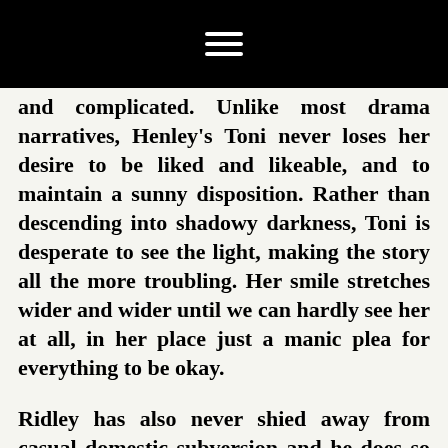≡
and complicated. Unlike most drama narratives, Henley's Toni never loses her desire to be liked and likeable, and to maintain a sunny disposition. Rather than descending into shadowy darkness, Toni is desperate to see the light, making the story all the more troubling. Her smile stretches wider and wider until we can hardly see her at all, in her place just a manic plea for everything to be okay.
Ridley has also never shied away from casual domestic subversion and he does so with such ease, it feels crass to bring